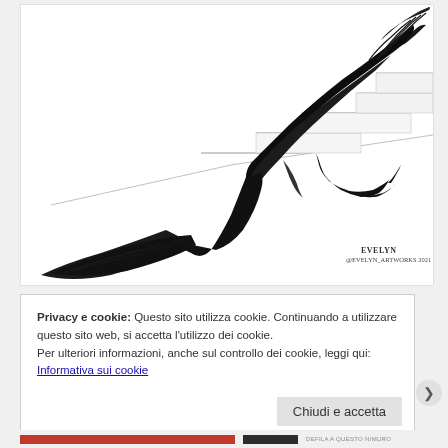[Figure (illustration): Black and white illustration of a woman in a long dark patterned dress with a dramatic train, climbing stairs. Long flowing hair. High heels. Signed 'EVELYN @EVELYN_ARTWORKS 2021' in the lower right. Sketch-style staircase in background.]
Privacy e cookie: Questo sito utilizza cookie. Continuando a utilizzare questo sito web, si accetta l'utilizzo dei cookie.
Per ulteriori informazioni, anche sul controllo dei cookie, leggi qui:
Informativa sui cookie
Chiudi e accetta